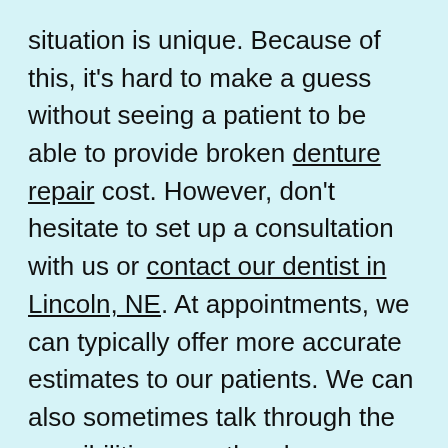situation is unique. Because of this, it's hard to make a guess without seeing a patient to be able to provide broken denture repair cost. However, don't hesitate to set up a consultation with us or contact our dentist in Lincoln, NE. At appointments, we can typically offer more accurate estimates to our patients. We can also sometimes talk through the possibilities over the phone.
[Figure (photo): Person's head/hair visible at top of lower section, with orange phone button and orange Online Scheduling / Payment button below]